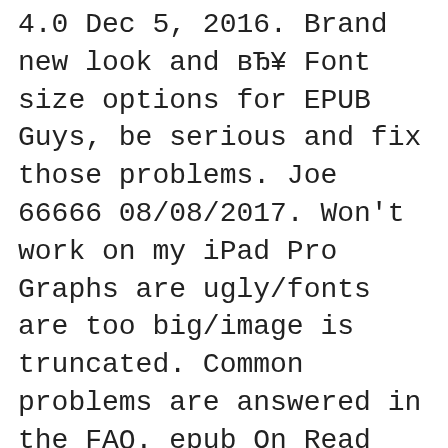4.0 Dec 5, 2016. Brand new look and вЂ¥ Font size options for EPUB Guys, be serious and fix those problems. Joe 66666 08/08/2017. Won't work on my iPad Pro Graphs are ugly/fonts are too big/image is truncated. Common problems are answered in the FAQ. epub On Read the Docs
EPUB Content Documents 3.0. The EPUB 3 CSS Profile includes @font-face rules and descriptors as defined in the CSS Fonts Module Level 3 [CSS3Fonts] Adobe Digital Editions Reading EPUB ebooks with Adobe Digital Editions. so far have displayed without any problems and with several different font sizes